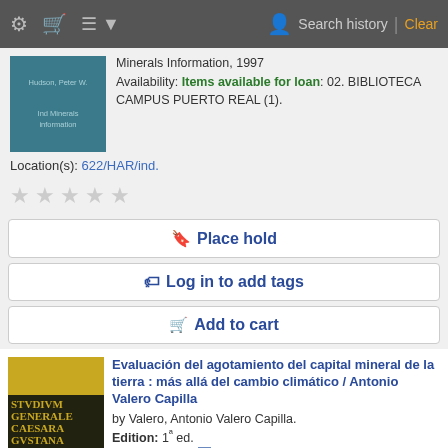Search history | Clear
Minerals Information, 1997
Availability: Items available for loan: 02. BIBLIOTECA CAMPUS PUERTO REAL (1).
Location(s): 622/HAR/ind.
Place hold
Log in to add tags
Add to cart
Evaluación del agotamiento del capital mineral de la tierra : más allá del cambio climático / Antonio Valero Capilla
by Valero, Antonio Valero Capilla.
Edition: 1ª ed.
Material type: Text; Format: print
Publisher: Zaragoza : Prensas de la Universidad de Zaragoza, 2012